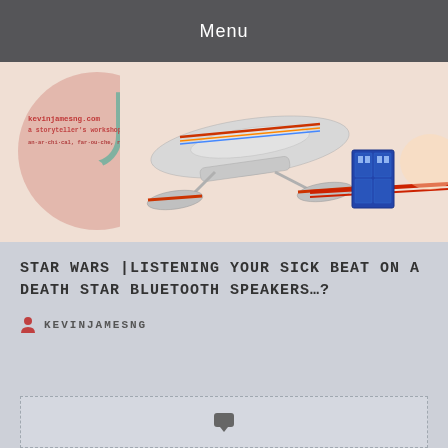Menu
[Figure (illustration): Website banner with a pink circle, teal kanji character, red/pink website text, and a Star Trek Enterprise spaceship with TARDIS against a light peach background]
STAR WARS |LISTENING YOUR SICK BEAT ON A DEATH STAR BLUETOOTH SPEAKERS…?
KEVINJAMESNG
[Figure (other): Dashed border comment/content box with a speech bubble icon]